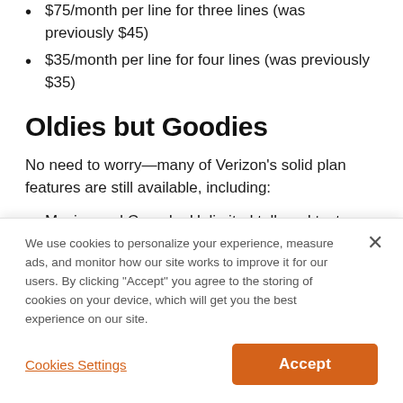$75/month per line for three lines (was previously $45)
$35/month per line for four lines (was previously $35)
Oldies but Goodies
No need to worry—many of Verizon's solid plan features are still available, including:
Mexico and Canada: Unlimited talk and text, as well
We use cookies to personalize your experience, measure ads, and monitor how our site works to improve it for our users. By clicking "Accept" you agree to the storing of cookies on your device, which will get you the best experience on our site.